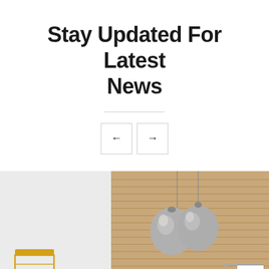Stay Updated For Latest News
[Figure (illustration): Navigation arrows: left arrow button and right arrow button side by side]
[Figure (photo): Interior room scene with wooden slat wall panel, two large silver pendant globe lights hanging from ceiling, a yellow wire chair on the left, and a white/clear chair on the right, against a light grey wall]